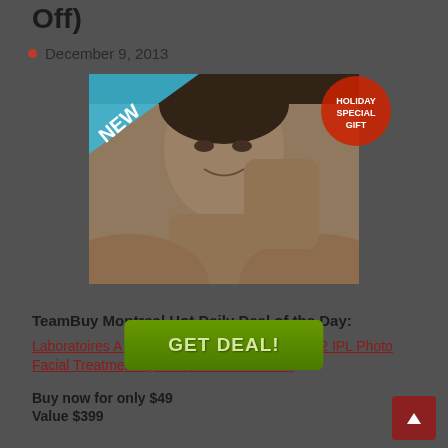Off)
December 9, 2013
[Figure (photo): Woman touching her face with one hand, smiling, promotional image for IPL Photo Facial treatments. Has a 'NEW' banner in top-left corner and a Christmas stocking badge in top-right area.]
[Figure (other): Green 'GET DEAL!' button]
TeamBuy Montreal Hot Daily Deal of the Day:
Laboratoires A & T Inc. – $49 for 1 OR $79 for 2 IPL Photo Facial Treatments (Save $350 or 88% Off)
Buy now for only $49
Value $399